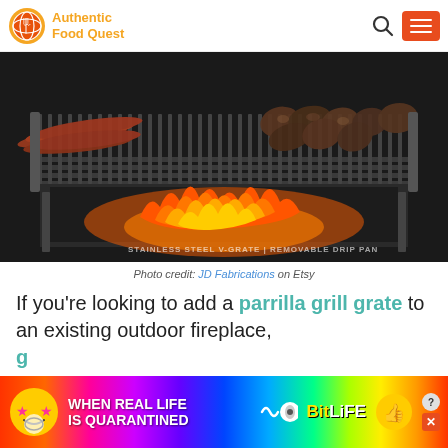Authentic Food Quest
[Figure (photo): A parrilla-style grill grate with sausages and chicken pieces cooking over open wood fire flames. Text overlay at bottom reads: STAINLESS STEEL V-GRATE | REMOVABLE DRIP PAN]
Photo credit: JD Fabrications on Etsy
If you're looking to add a parrilla grill grate to an existing outdoor fireplace, th
[Figure (other): Advertisement banner: WHEN REAL LIFE IS QUARANTINED - BitLife game ad with colorful rainbow background and cartoon character]